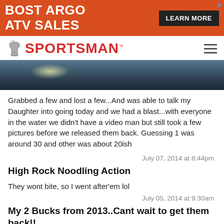[Figure (screenshot): Advertisement banner for BOST ARGO ATV SALES with orange background, white bold text, black LEARN MORE button, and X close button]
[Figure (logo): Sportsman magazine logo with knight chess piece icon and red bold SPORTSMAN text with trademark symbol]
[Figure (photo): Outdoor water/noodling scene, dark image showing water surface with light reflections]
Grabbed a few and lost a few...And was able to talk my Daughter into going today and we had a blast...with everyone in the water we didn't have a video man but still took a few pictures before we released them back. Guessing 1 was around 30 and other was about 20ish
July 07, 2014 at 8:44pm
High Rock Noodling Action
They wont bite, so I went after'em lol
July 05, 2014 at 9:30am
My 2 Bucks from 2013..Cant wait to get them back!!